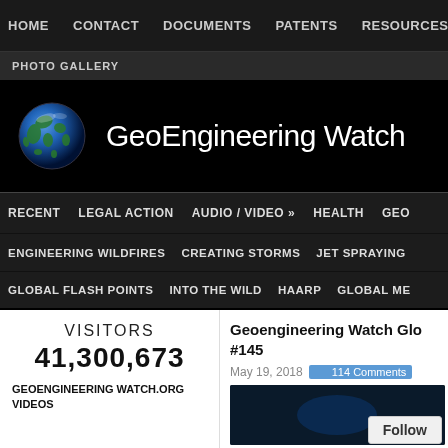HOME  CONTACT  DOCUMENTS  PATENTS  RESOURCES »
PHOTO GALLERY
GeoEngineering Watch
RECENT  LEGAL ACTION  AUDIO / VIDEO »  HEALTH  GEO
ENGINEERING WILDFIRES  CREATING STORMS  JET SPRAYING
GLOBAL FLASH POINTS  INTO THE WILD  HAARP  GLOBAL ME
VISITORS
41,300,673
GEOENGINEERING WATCH.ORG VIDEOS
Geoengineering Watch Glo #145
May 19, 2018  114 Comments